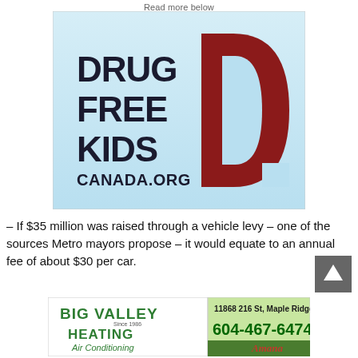Read more below
[Figure (logo): Drug Free Kids Canada.org logo — light blue background with bold dark text 'DRUG FREE KIDS CANADA.ORG' on the left and a large dark red letter D on the right]
– If $35 million was raised through a vehicle levy – one of the sources Metro mayors propose – it would equate to an annual fee of about $30 per car.
[Figure (infographic): Big Valley Heating and Air Conditioning advertisement. Address: 11868 216 St, Maple Ridge. Phone: 604-467-6474. Amana brand logo.]